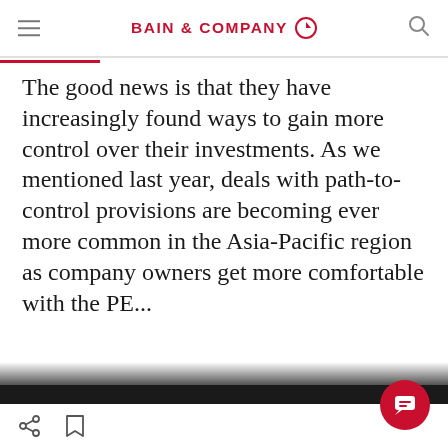BAIN & COMPANY
The good news is that they have increasingly found ways to gain more control over their investments. As we mentioned last year, deals with path-to-control provisions are becoming ever more common in the Asia-Pacific region as company owners get more comfortable with the PE...
We use cookies to improve functionality and performance of this site. By continuing to browse this site, you consent to the use of cookies.
ACCEPT ALL COOKIES